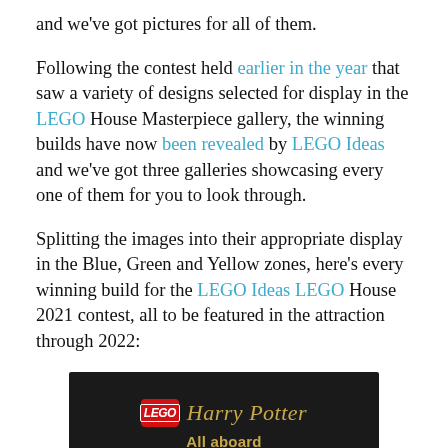and we've got pictures for all of them.
Following the contest held earlier in the year that saw a variety of designs selected for display in the LEGO House Masterpiece gallery, the winning builds have now been revealed by LEGO Ideas and we've got three galleries showcasing every one of them for you to look through.
Splitting the images into their appropriate display in the Blue, Green and Yellow zones, here's every winning build for the LEGO Ideas LEGO House 2021 contest, all to be featured in the attraction through 2022:
[Figure (illustration): LEGO Harry Potter branded image with LEGO logo and Harry Potter text in gold on a dark background, with subtitle 'All aboard for magical adventure']